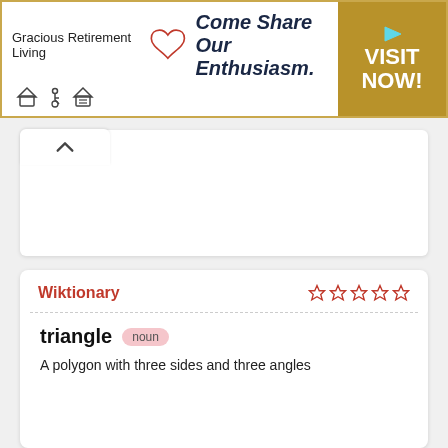[Figure (advertisement): Gracious Retirement Living ad banner with heart logo, tagline 'Come Share Our Enthusiasm.', accessibility icons, and a gold 'VISIT NOW!' call-to-action button.]
Wiktionary
triangle  noun
A polygon with three sides and three angles